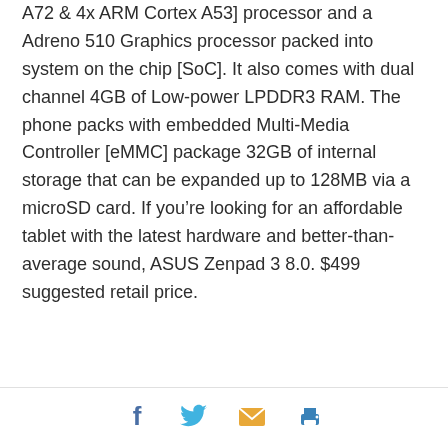A72 & 4x ARM Cortex A53] processor and a Adreno 510 Graphics processor packed into system on the chip [SoC]. It also comes with dual channel 4GB of Low-power LPDDR3 RAM. The phone packs with embedded Multi-Media Controller [eMMC] package 32GB of internal storage that can be expanded up to 128MB via a microSD card. If you're looking for an affordable tablet with the latest hardware and better-than-average sound, ASUS Zenpad 3 8.0. $499 suggested retail price.
[Figure (infographic): Social sharing icons: Facebook (blue f), Twitter (cyan bird), Email (orange envelope), Print (blue printer)]